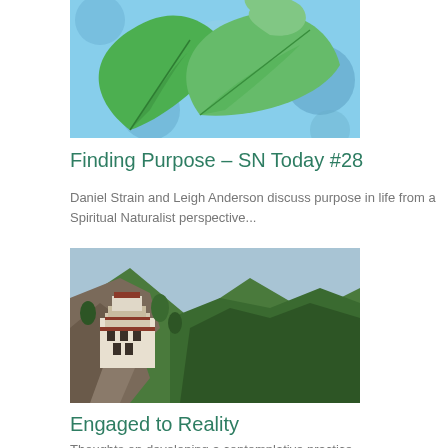[Figure (photo): Green leaves on a blue background, nature/plant imagery]
Finding Purpose – SN Today #28
Daniel Strain and Leigh Anderson discuss purpose in life from a Spiritual Naturalist perspective...
[Figure (photo): Monastery or temple built into a rocky cliff face with forested mountains in background (Tiger's Nest style)]
Engaged to Reality
Thoughts on developing a contemplative practice...
[Figure (photo): Shopping cart illustration with text: Ethical people return their shopping carts]